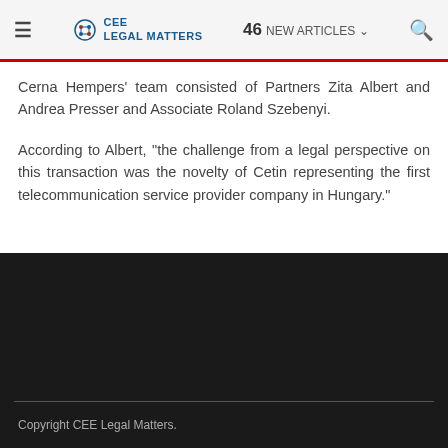≡  CEE LEGAL MATTERS  46 NEW ARTICLES  🔍
Cerna Hempers' team consisted of Partners Zita Albert and Andrea Presser and Associate Roland Szebenyi.
According to Albert, "the challenge from a legal perspective on this transaction was the novelty of Cetin representing the first telecommunication service provider company in Hungary."
Copyright CEE Legal Matters.